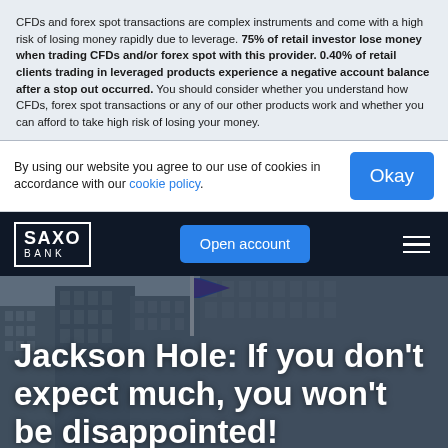CFDs and forex spot transactions are complex instruments and come with a high risk of losing money rapidly due to leverage. 75% of retail investor lose money when trading CFDs and/or forex spot with this provider. 0.40% of retail clients trading in leveraged products experience a negative account balance after a stop out occurred. You should consider whether you understand how CFDs, forex spot transactions or any of our other products work and whether you can afford to take high risk of losing your money.
By using our website you agree to our use of cookies in accordance with our cookie policy.
[Figure (logo): Saxo Bank logo — white text on dark navy background with border]
Jackson Hole: If you don't expect much, you won't be disappointed!